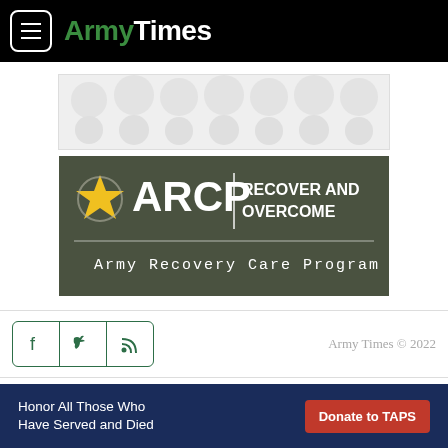ArmyTimes
[Figure (other): Gray decorative ad banner placeholder with circular pattern]
[Figure (logo): ARCP Army Recovery Care Program — Recover and Overcome logo on dark olive/green background]
Facebook, Twitter, RSS social icons | Army Times © 2022
Terms of Use    Get Help
[Figure (other): TAPS donation sticky banner: Honor All Those Who Have Served and Died | Donate to TAPS button]